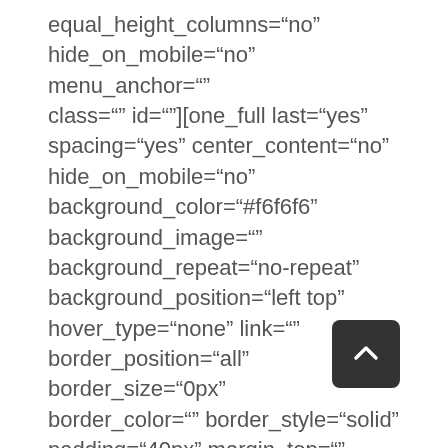equal_height_columns="no" hide_on_mobile="no" menu_anchor="" class="" id=""][one_full last="yes" spacing="yes" center_content="no" hide_on_mobile="no" background_color="#f6f6f6" background_image="" background_repeat="no-repeat" background_position="left top" hover_type="none" link="" border_position="all" border_size="0px" border_color="" border_style="solid" padding="40px" margin_top="" margin_bottom="" animation_ty animation_direction=""